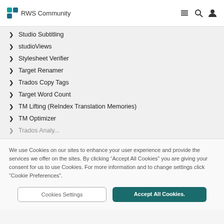RWS Community
Studio Subtitling
studioViews
Stylesheet Verifier
Target Renamer
Trados Copy Tags
Target Word Count
TM Lifting (ReIndex Translation Memories)
TM Optimizer
Trados Analy...
We use Cookies on our sites to enhance your user experience and provide the services we offer on the sites. By clicking “Accept All Cookies” you are giving your consent for us to use Cookies. For more information and to change settings click “Cookie Preferences”.
Cookies Settings
Accept All Cookies.